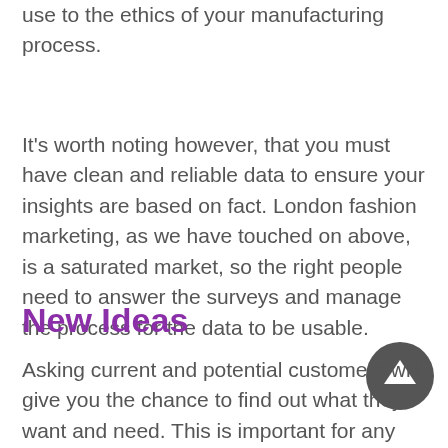use to the ethics of your manufacturing process.
It's worth noting however, that you must have clean and reliable data to ensure your insights are based on fact. London fashion marketing, as we have touched on above, is a saturated market, so the right people need to answer the surveys and manage the process for the data to be usable.
New Ideas
Asking current and potential customers will give you the chance to find out what they want and need. This is important for any business to do, but for those in a